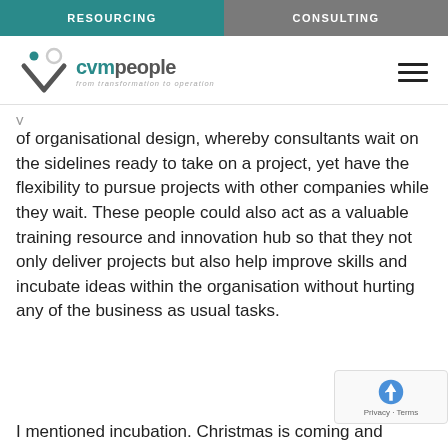RESOURCING   CONSULTING
[Figure (logo): cvmpeople logo with tagline 'from transformation to operation']
of organisational design, whereby consultants wait on the sidelines ready to take on a project, yet have the flexibility to pursue projects with other companies while they wait. These people could also act as a valuable training resource and innovation hub so that they not only deliver projects but also help improve skills and incubate ideas within the organisation without hurting any of the business as usual tasks.
I mentioned incubation. Christmas is coming and